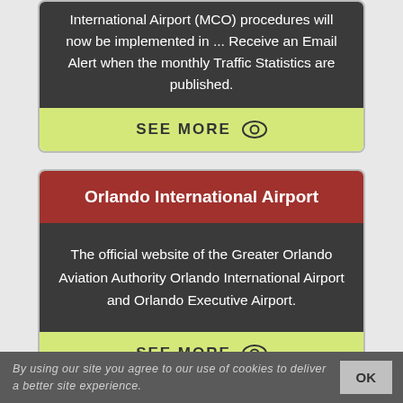International Airport (MCO) procedures will now be implemented in ... Receive an Email Alert when the monthly Traffic Statistics are published.
SEE MORE
Orlando International Airport
The official website of the Greater Orlando Aviation Authority Orlando International Airport and Orlando Executive Airport.
SEE MORE
By using our site you agree to our use of cookies to deliver a better site experience.